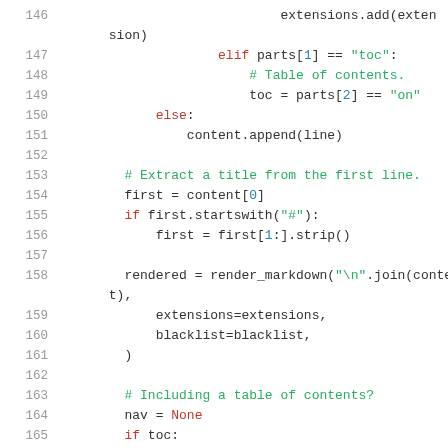[Figure (screenshot): Python source code lines 146–165 with syntax highlighting. Keywords in red, comments and strings in green, bracket indices in blue, plain code in dark gray.]